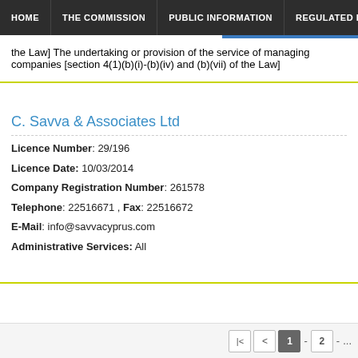HOME | THE COMMISSION | PUBLIC INFORMATION | REGULATED EN...
the Law] The undertaking or provision of the service of managing companies [section 4(1)(b)(i)-(b)(iv) and (b)(vii) of the Law]
C. Savva & Associates Ltd
Licence Number: 29/196
Licence Date: 10/03/2014
Company Registration Number: 261578
Telephone: 22516671 , Fax: 22516672
E-Mail: info@savvacyprus.com
Administrative Services: All
|< < 1 - 2 - ...